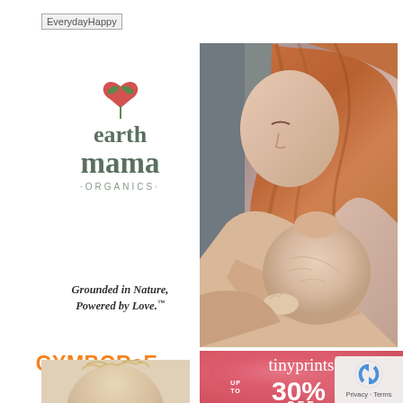[Figure (other): Broken image placeholder for EverydayHappy logo]
[Figure (logo): Earth Mama Organics logo with heart/plant icon and tagline 'Grounded in Nature, Powered by Love.']
[Figure (photo): Photo of a red-haired mother kissing a newborn baby]
[Figure (logo): Gymboree logo in orange with text 'Kids Clothing Newborn To Size 12']
[Figure (logo): tinyprints advertisement on pink/red background with 'UP TO 30% OFF']
[Figure (photo): Bottom portion of a baby's head, blonde hair]
[Figure (other): reCAPTCHA privacy badge with Privacy - Terms text]